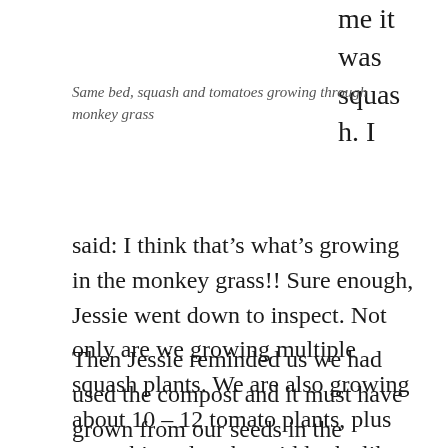me it was squash. I
Same bed, squash and tomatoes growing through monkey grass
said: I think that’s what’s growing in the monkey grass!! Sure enough, Jessie went down to inspect. Not only are we growing multiple squash plants. We are also growing about 10 – 12 tomato plants, plus something else she said looks like melon. I could not believe it! How was this possible.
Then Jessie reminded us we had used the compost and it must have grown from our seeds in the compost. Ryan of course was ecstatic to hear all his hard work composting